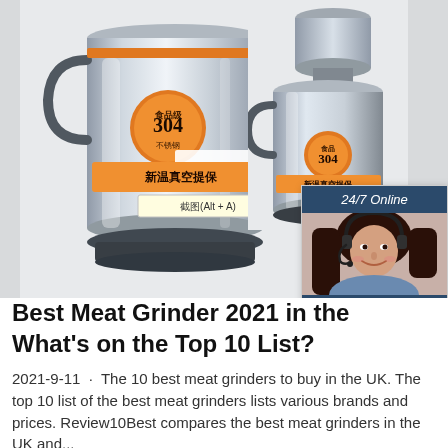[Figure (photo): Two stainless steel food grinder/thermos containers. The larger one on the left has Chinese text labels, an orange badge with '304', and a screenshot tooltip. A smaller one appears on the right. A customer service chat widget with '24/7 Online', a woman with headset, 'Click here for free chat!', and an orange QUOTATION button overlays the top-right. A 'TOP' logo in red appears lower right.]
Best Meat Grinder 2021 in the What's on the Top 10 List?
2021-9-11  ·  The 10 best meat grinders to buy in the UK. The top 10 list of the best meat grinders lists various brands and prices. Review10Best compares the best meat grinders in the UK and...